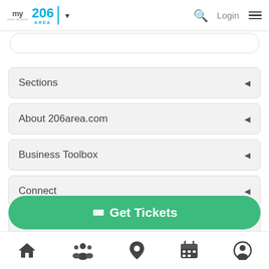my area network | 206 AREA | Login
Sections
About 206area.com
Business Toolbox
Connect
Neighborhoods
Get Tickets
Home | People | Location | Calendar | Profile